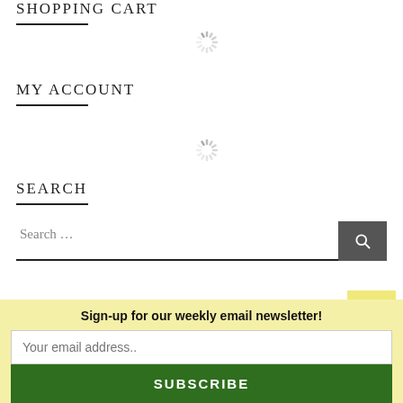SHOPPING CART
[Figure (other): Loading spinner icon (gray sunburst/spinner)]
MY ACCOUNT
[Figure (other): Loading spinner icon (gray sunburst/spinner)]
SEARCH
Search …
BROWSE PRODUCTS
Sign-up for our weekly email newsletter!
Your email address..
SUBSCRIBE